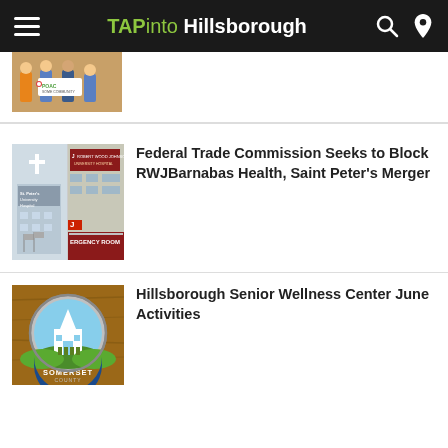TAPinto Hillsborough
[Figure (photo): Partial top article image showing people holding a sign with POAC logo]
[Figure (photo): Two hospital building images side by side: St. Peter's University Hospital and Robert Wood Johnson University Hospital Emergency Room]
Federal Trade Commission Seeks to Block RWJBarnabas Health, Saint Peter's Merger
[Figure (photo): Somerset County logo pin on a wooden surface]
Hillsborough Senior Wellness Center June Activities